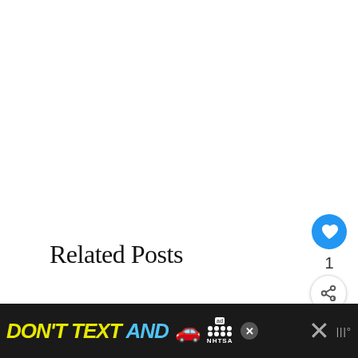Related Posts
[Figure (photo): Blue circular heart/like button icon]
1
[Figure (photo): White circular share/add button icon]
[Figure (photo): Photo of a dark fluffy dog peeking up with wild hair, with a 'What's Next' card overlay showing a thumbnail and text 'Why Does My Dog Lick...']
[Figure (photo): Advertisement banner: DON'T TEXT AND [car emoji] with NHTSA logo and close buttons]